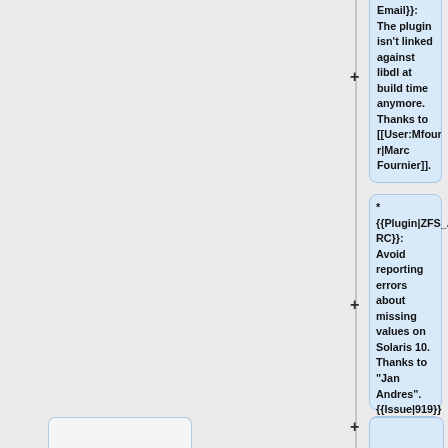{{Plugin|ZFS_Email}}: The plugin isn't linked against libdl at build time anymore. Thanks to [[User:Mfournier|Marc Fournier]].
* {{Plugin|ZFS_ARC}}: Avoid reporting errors about missing values on Solaris 10. Thanks to "Jan Andres". {{Issue|919}}